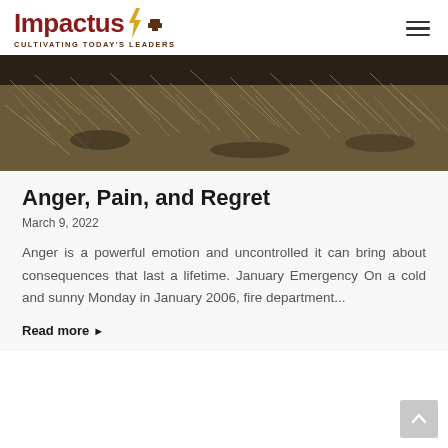Impactus — Cultivating Today's Leaders
[Figure (photo): Close-up photograph of dry grass/hay on ground, brownish-grey natural field debris]
Anger, Pain, and Regret
March 9, 2022
Anger is a powerful emotion and uncontrolled it can bring about consequences that last a lifetime. January Emergency On a cold and sunny Monday in January 2006, fire department...
Read more ▶